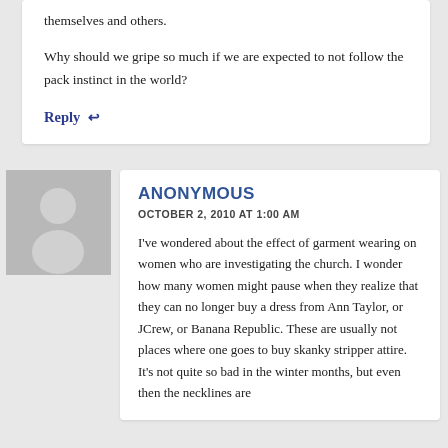themselves and others.
Why should we gripe so much if we are expected to not follow the pack instinct in the world?
Reply ↩
ANONYMOUS
OCTOBER 2, 2010 AT 1:00 AM
I've wondered about the effect of garment wearing on women who are investigating the church. I wonder how many women might pause when they realize that they can no longer buy a dress from Ann Taylor, or JCrew, or Banana Republic. These are usually not places where one goes to buy skanky stripper attire. It's not quite so bad in the winter months, but even then the necklines are